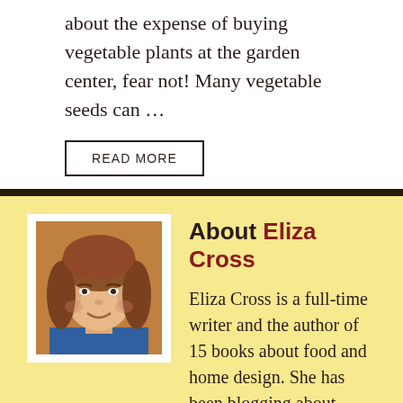about the expense of buying vegetable plants at the garden center, fear not! Many vegetable seeds can …
READ MORE
About Eliza Cross
Eliza Cross is a full-time writer and the author of 15 books about food and home design. She has been blogging about simplicity and sustainable living since
[Figure (photo): Headshot of Eliza Cross, a woman with brown hair, smiling, wearing a blue top]